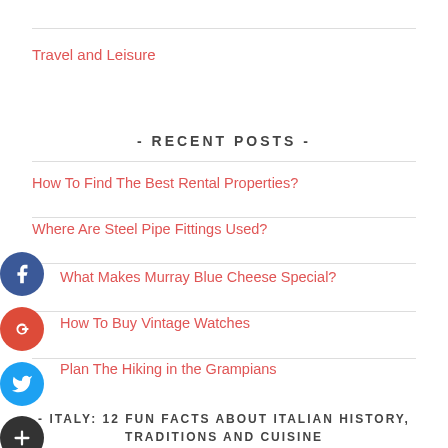Travel and Leisure
- RECENT POSTS -
How To Find The Best Rental Properties?
Where Are Steel Pipe Fittings Used?
What Makes Murray Blue Cheese Special?
How To Buy Vintage Watches
Plan The Hiking in the Grampians
- ITALY: 12 FUN FACTS ABOUT ITALIAN HISTORY, TRADITIONS AND CUISINE